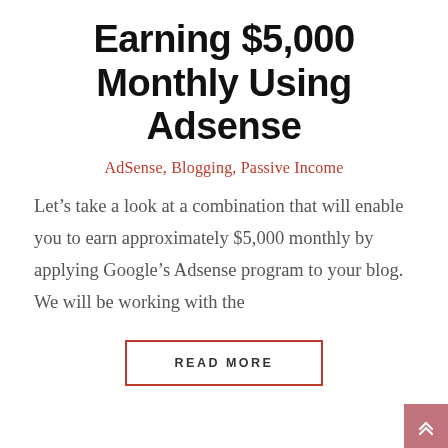Earning $5,000 Monthly Using Adsense
AdSense, Blogging, Passive Income
Let’s take a look at a combination that will enable you to earn approximately $5,000 monthly by applying Google’s Adsense program to your blog. We will be working with the
READ MORE